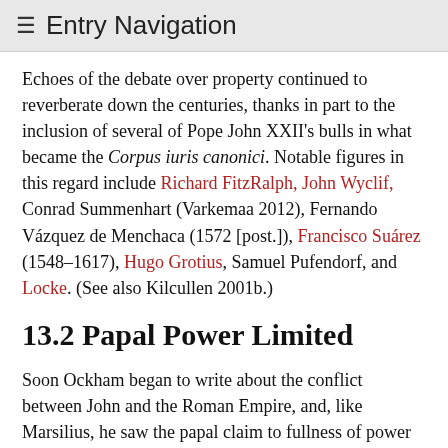≡ Entry Navigation
Echoes of the debate over property continued to reverberate down the centuries, thanks in part to the inclusion of several of Pope John XXII's bulls in what became the Corpus iuris canonici. Notable figures in this regard include Richard FitzRalph, John Wyclif, Conrad Summenhart (Varkemaa 2012), Fernando Vázquez de Menchaca (1572 [post.]), Francisco Suárez (1548–1617), Hugo Grotius, Samuel Pufendorf, and Locke. (See also Kilcullen 2001b.)
13.2 Papal Power Limited
Soon Ockham began to write about the conflict between John and the Roman Empire, and, like Marsilius, he saw the papal claim to fullness of power as the root of many evils.[68] Unlike Marsilius, however, he did not reject the idea of papal fullness of power in every sense. Against Marsilius (whom he quotes extensively on this topic),[69] Ockham defended the traditional belief that Christ appointed Peter as head of the Church, and he held that